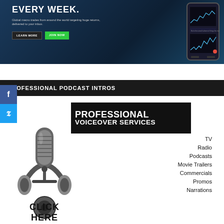[Figure (screenshot): Dark blue banner advertisement with headline 'EVERY WEEK.' in white, subtext about global macro trades, LEARN MORE and JOIN NOW buttons, and a phone mockup with trading charts on the right]
PROFESSIONAL PODCAST INTROS
[Figure (advertisement): Professional voiceover services advertisement with microphone/headphones image on left, bold text 'PROFESSIONAL VOICEOVER SERVICES' on black background, list of services: TV, Radio, Podcasts, Movie Trailers, Commercials, Promos, Narrations, and CLICK HERE text at bottom]
TV
Radio
Podcasts
Movie Trailers
Commercials
Promos
Narrations